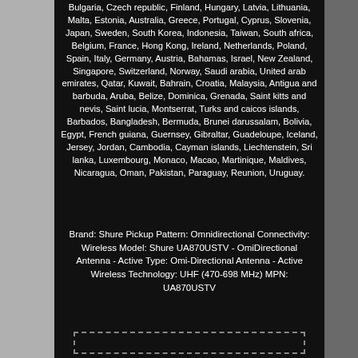Bulgaria, Czech republic, Finland, Hungary, Latvia, Lithuania, Malta, Estonia, Australia, Greece, Portugal, Cyprus, Slovenia, Japan, Sweden, South Korea, Indonesia, Taiwan, South africa, Belgium, France, Hong Kong, Ireland, Netherlands, Poland, Spain, Italy, Germany, Austria, Bahamas, Israel, New Zealand, Singapore, Switzerland, Norway, Saudi arabia, United arab emirates, Qatar, Kuwait, Bahrain, Croatia, Malaysia, Antigua and barbuda, Aruba, Belize, Dominica, Grenada, Saint kitts and nevis, Saint lucia, Montserrat, Turks and caicos islands, Barbados, Bangladesh, Bermuda, Brunei darussalam, Bolivia, Egypt, French guiana, Guernsey, Gibraltar, Guadeloupe, Iceland, Jersey, Jordan, Cambodia, Cayman islands, Liechtenstein, Sri lanka, Luxembourg, Monaco, Macao, Martinique, Maldives, Nicaragua, Oman, Pakistan, Paraguay, Reunion, Uruguay.
Brand: Shure Pickup Pattern: Omnidirectional Connectivity: Wireless Model: Shure UA870USTV - OmiDirectional Antenna - Active Type: Omi-Directional Antenna - Active Wireless Technology: UHF (470-698 MHz) MPN: UA870USTV
[Figure (other): Dashed rectangle border at bottom of content area]